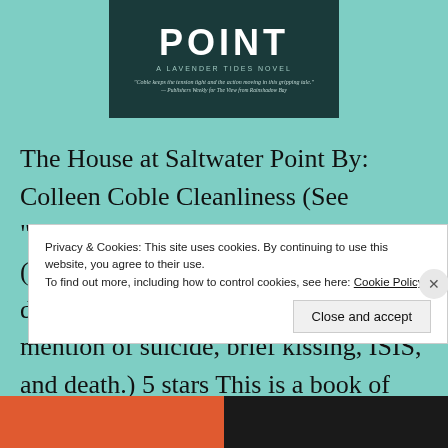[Figure (photo): Book cover of 'The House at Saltwater Point' — a dark teal/navy cover showing water and gravel texture. Title 'POINT' visible in large white letters. Subtitle 'A Lavender Tides Novel'. Quote: 'Coble keeps the tension tight and the action moving in this gripping tale.' — Publishers Weekly for The View from Rainshadow Bay]
The House at Saltwater Point By: Colleen Coble Cleanliness (See "About" for scale): Slightly tainted (No cursing. Content to consider: drugs, blood, multiple murders, mention of suicide, brief kissing, ISIS, and death.) 5 stars This is a book of hate and love, betrayal and trust. I had so many emotions
Privacy & Cookies: This site uses cookies. By continuing to use this website, you agree to their use.
To find out more, including how to control cookies, see here: Cookie Policy
Close and accept